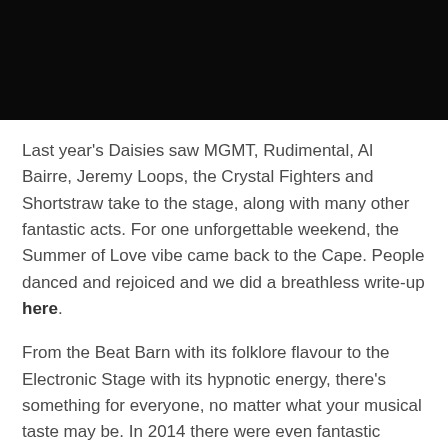[Figure (photo): Dark/black photograph strip at the top of the page, partially cut off]
Last year's Daisies saw MGMT, Rudimental, Al Bairre, Jeremy Loops, the Crystal Fighters and Shortstraw take to the stage, along with many other fantastic acts. For one unforgettable weekend, the Summer of Love vibe came back to the Cape. People danced and rejoiced and we did a breathless write-up here.
From the Beat Barn with its folklore flavour to the Electronic Stage with its hypnotic energy, there's something for everyone, no matter what your musical taste may be. In 2014 there were even fantastic comedy acts entertaining the masses at the Lemon Tree